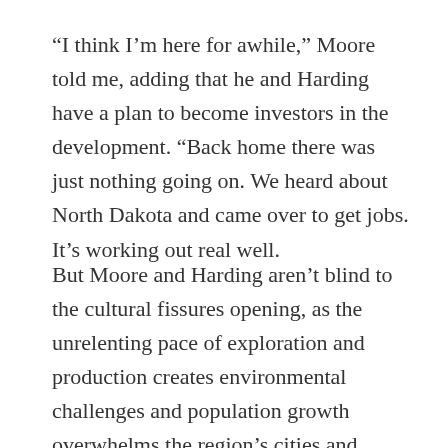“I think I’m here for awhile,” Moore told me, adding that he and Harding have a plan to become investors in the development. “Back home there was just nothing going on. We heard about North Dakota and came over to get jobs. It’s working out real well.
But Moore and Harding aren’t blind to the cultural fissures opening, as the unrelenting pace of exploration and production creates environmental challenges and population growth overwhelms the region’s cities and towns. The state has counted over 1,000 oilfield-related spills of fuel, oil, saltwater, and waste — five